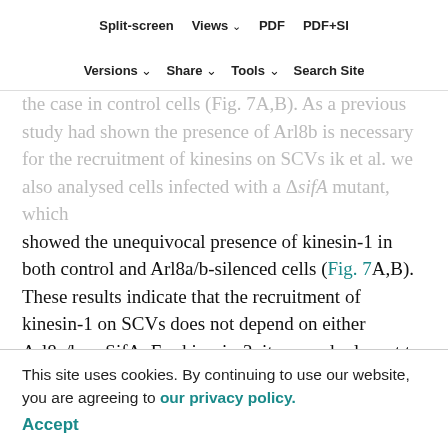Split-screen   Views   PDF   PDF+SI
Versions   Share   Tools   Search Site
the case in control cells (Fig. 7A,B). As a previous study had shown the presence of Arl8b is necessary for the recruitment of kinesins on SCVs (Kaniuk et al., we also analysed cells infected with a ΔsifA mutant, which showed the unequivocal presence of kinesin-1 in both control and Arl8a/b-silenced cells (Fig. 7A,B). These results indicate that the recruitment of kinesin-1 on SCVs does not depend on either Arl8a/b or SifA. For kinesin-3, it seemed relevant to compare the recruitment on SCVs which display both Arl8a/b and SifA and on lysosomes on which only Arl8a/b are present. In cells infected with wild-type Salmonella, we observed, in the absence of Arl8a/b, a decrease of ~30% of the proportion of SCVs with kinesin-3 (56±2% versus 85±2% for the control; mean±s.d.), compared to a decrease of more than 80% on lysosomes (16±5% versus 85±7% for the control) in uninfected cells
This site uses cookies. By continuing to use our website, you are agreeing to our privacy policy.
Accept